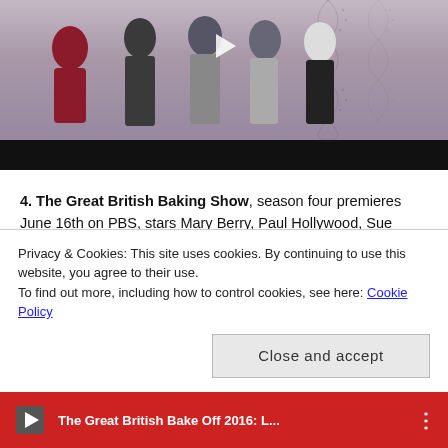[Figure (screenshot): Video thumbnail showing group of people standing together on a light background with decorative helix/dot patterns on the right side; a play button is visible in the center; below is a dark video control bar.]
4. The Great British Baking Show, season four premieres June 16th on PBS, stars Mary Berry, Paul Hollywood, Sue Perkins, and Mel Giedroyc. I have to admit, I was skeptical of this baking show when I first watched it with my mother while home for Christmas a few years
Privacy & Cookies: This site uses cookies. By continuing to use this website, you agree to their use.
To find out more, including how to control cookies, see here: Cookie Policy
Close and accept
[Figure (screenshot): Bottom red strip showing thumbnail and text: The Great British Bake Off 2016: L...]